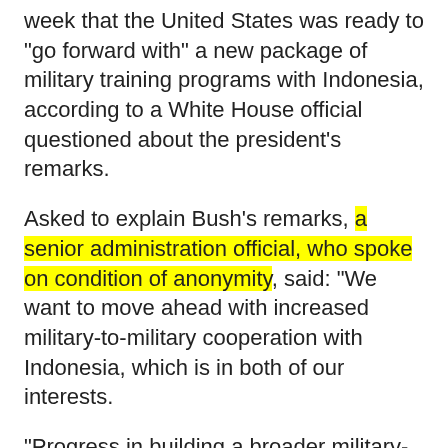President Bush misspoke when he said last week that the United States was ready to "go forward with" a new package of military training programs with Indonesia, according to a White House official questioned about the president's remarks.
Asked to explain Bush's remarks, a senior administration official, who spoke on condition of anonymity, said: "We want to move ahead with increased military-to-military cooperation with Indonesia, which is in both of our interests.
"Progress in building a broader military-to-military relationship with Indonesia," he said, however, "will be pinned on continued cooperation from Indonesia on the investigation into the murders of two Americans" near the town of Timika, in Papua. "The investigation is moving forward due to the improved cooperation by the Indonesia government."